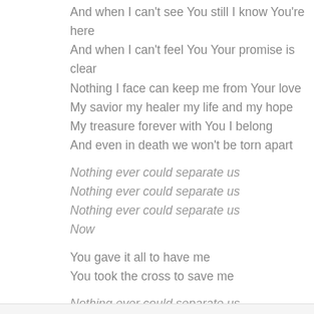And when I can't see You still I know You're here
And when I can't feel You Your promise is clear
Nothing I face can keep me from Your love
My savior my healer my life and my hope
My treasure forever with You I belong
And even in death we won't be torn apart
Nothing ever could separate us
Nothing ever could separate us
Nothing ever could separate us
Now
You gave it all to have me
You took the cross to save me
Nothing ever could separate us
Nothing ever could separate us
Nothing ever could separate us
Now